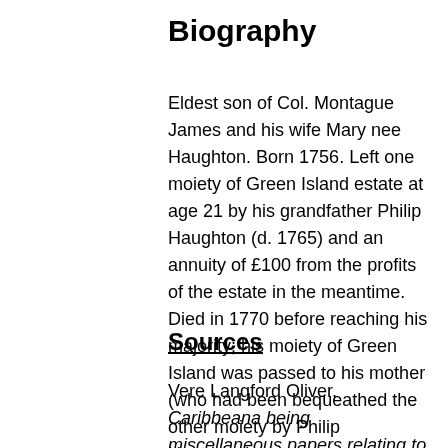Biography
Eldest son of Col. Montague James and his wife Mary nee Haughton. Born 1756. Left one moiety of Green Island estate at age 21 by his grandfather Philip Haughton (d. 1765) and an annuity of £100 from the profits of the estate in the meantime. Died in 1770 before reaching his majority; his moiety of Green Island was passed to his mother (who had been bequeathed the other moiety by Philip Haughton).
Sources
Vere Langford Oliver, Caribbeana being miscellaneous papers relating to the history, genealogy, topography, and antiquities of the British West Indies (6